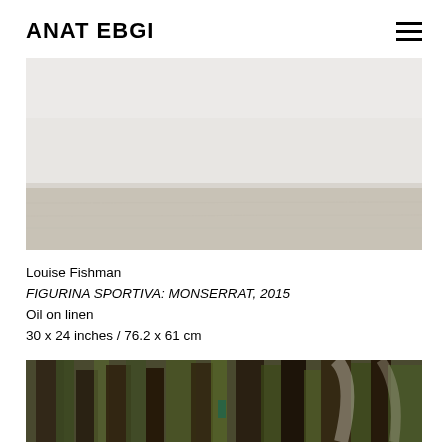ANAT EBGI
[Figure (photo): Abstract painting with pale gray upper two-thirds and warm beige-gray lower third, suggesting a minimalist landscape on linen]
Louise Fishman
FIGURINA SPORTIVA: MONSERRAT, 2015
Oil on linen
30 x 24 inches / 76.2 x 61 cm
[Figure (photo): Detail of abstract expressionist painting with dark olive green, brown, and black brushstrokes on textured linen canvas]